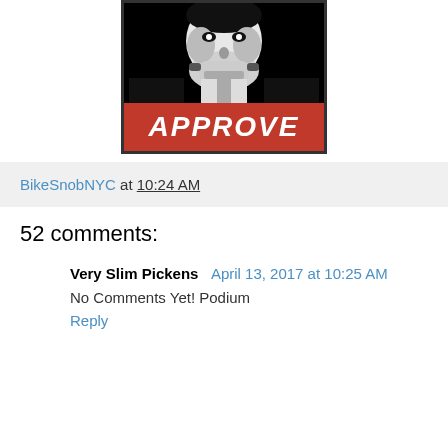[Figure (illustration): Black and white stylized image of a figure/face with a red banner at the bottom reading 'APPROVE' in large white italic bold letters, styled like an 'OBEY' propaganda poster.]
BikeSnobNYC at 10:24 AM
52 comments:
Very Slim Pickens  April 13, 2017 at 10:25 AM
No Comments Yet! Podium
Reply